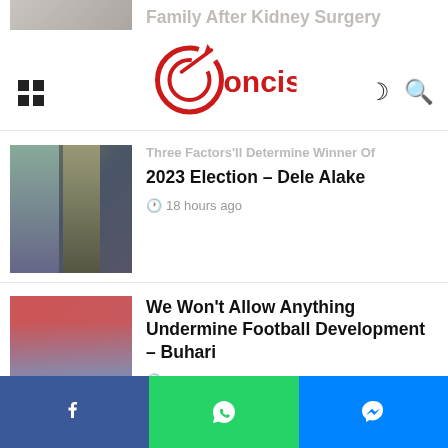Concise News
Family After Kidney Surgery
[Figure (photo): Portrait photo of a person (partial, top of page)]
Three Factors'll Determine Winner Of 2023 Election – Dele Alake
18 hours ago
[Figure (photo): Group of political figures at a podium/event]
We Won't Allow Anything Undermine Football Development – Buhari
18 hours ago
[Figure (photo): Group of officials at a football/sports event holding documents]
Facebook | WhatsApp | Messenger share buttons